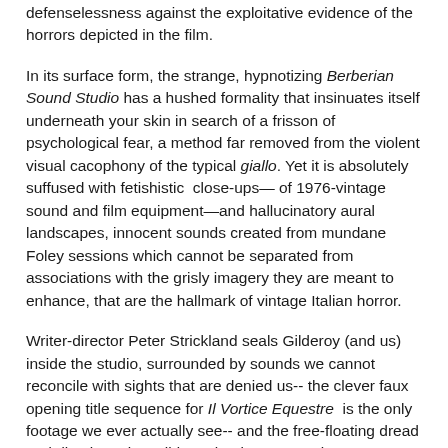defenselessness against the exploitative evidence of the horrors depicted in the film.
In its surface form, the strange, hypnotizing Berberian Sound Studio has a hushed formality that insinuates itself underneath your skin in search of a frisson of psychological fear, a method far removed from the violent visual cacophony of the typical giallo. Yet it is absolutely suffused with fetishistic  close-ups— of 1976-vintage sound and film equipment—and hallucinatory aural landscapes, innocent sounds created from mundane Foley sessions which cannot be separated from associations with the grisly imagery they are meant to enhance, that are the hallmark of vintage Italian horror.
Writer-director Peter Strickland seals Gilderoy (and us) inside the studio, surrounded by sounds we cannot reconcile with sights that are denied us-- the clever faux opening title sequence for Il Vortice Equestre  is the only footage we ever actually see-- and the free-floating dread and disorientation Gilderoy begins to experience eventually becomes our own. Even the letters Gilderoy receives from his mother back in